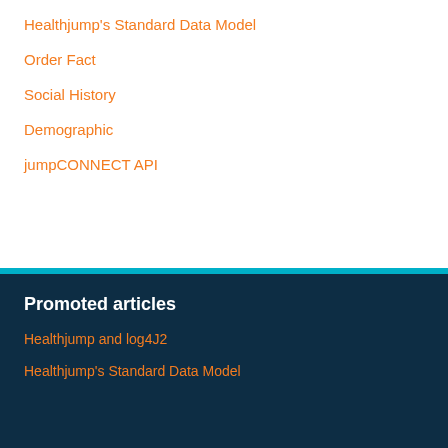Healthjump's Standard Data Model
Order Fact
Social History
Demographic
jumpCONNECT API
Promoted articles
Healthjump and log4J2
Healthjump's Standard Data Model